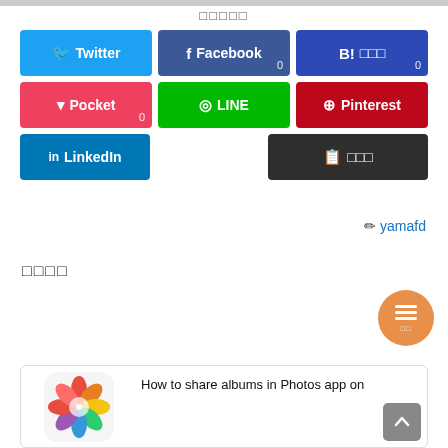□□□□□
[Figure (infographic): Social share buttons: Twitter (blue), Facebook (dark blue), B! hatena (dark blue, count 0), Pocket (pink, count 0), LINE (green), Pinterest (red), LinkedIn (steel blue), copy button (dark)]
✏ yamafd
□□□□
[Figure (photo): Colorful flower-like Photos app icon with card preview titled 'How to share albums in Photos app on']